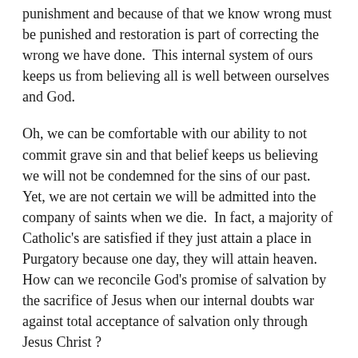punishment and because of that we know wrong must be punished and restoration is part of correcting the wrong we have done.  This internal system of ours keeps us from believing all is well between ourselves and God.
Oh, we can be comfortable with our ability to not commit grave sin and that belief keeps us believing we will not be condemned for the sins of our past.  Yet, we are not certain we will be admitted into the company of saints when we die.  In fact, a majority of Catholic's are satisfied if they just attain a place in Purgatory because one day, they will attain heaven.  How can we reconcile God's promise of salvation by the sacrifice of Jesus when our internal doubts war against total acceptance of salvation only through Jesus Christ ?
We seem as a people to spend a lot of time striving to be good faithful Catholic's and structure our spiritual lives around religious practices aimed to keep us in right